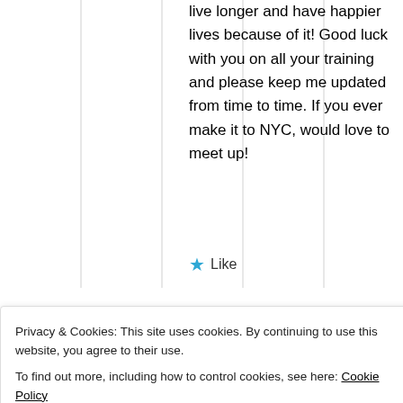live longer and have happier lives because of it! Good luck with you on all your training and please keep me updated from time to time. If you ever make it to NYC, would love to meet up!
★ Like
Privacy & Cookies: This site uses cookies. By continuing to use this website, you agree to their use.
To find out more, including how to control cookies, see here: Cookie Policy
Close and accept